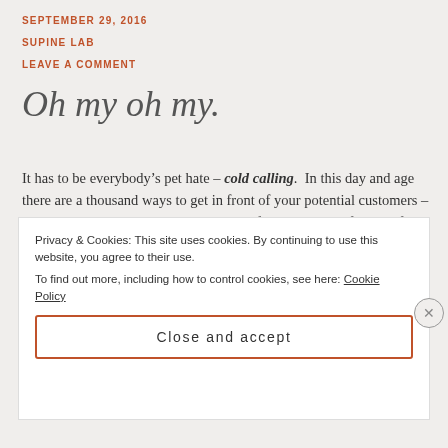SEPTEMBER 29, 2016
SUPINE LAB
LEAVE A COMMENT
Oh my oh my.
It has to be everybody’s pet hate – cold calling.  In this day and age there are a thousand ways to get in front of your potential customers – but still, cold calling seems to be the preferred method of choice for some companies.
Privacy & Cookies: This site uses cookies. By continuing to use this website, you agree to their use.
To find out more, including how to control cookies, see here: Cookie Policy
Close and accept